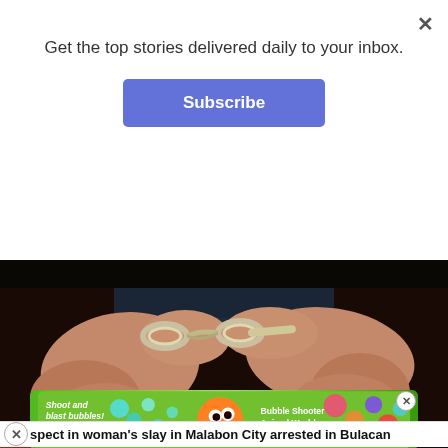Get the top stories delivered daily to your inbox.
Subscribe
[Figure (photo): Close-up photo of a person's hands handcuffed behind their back, wearing jeans, on a dark background. A red banner overlay reads 'MOST POPULAR'.]
MOST POPULAR
spect in woman's slay in Malabon City arrested in Bulacan
[Figure (screenshot): Mobile game advertisement banner. Text reads 'Shoot and blast bubbles! Play Now' with cartoon characters and 'Bubble Shooter Animal World' text.]